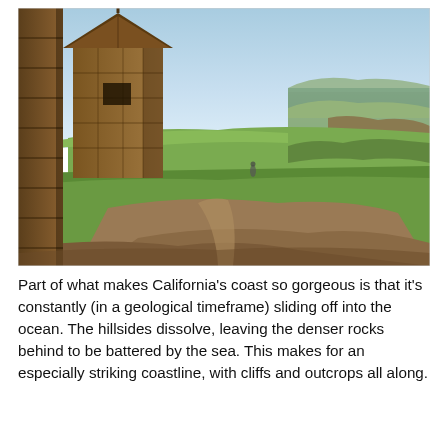[Figure (photo): Coastal landscape photo showing a grassy clifftop with a wooden log fort structure on the left, a dirt and grass field in the foreground, and cliffs dropping to the ocean on the right. Clear blue sky above.]
Part of what makes California's coast so gorgeous is that it's constantly (in a geological timeframe) sliding off into the ocean. The hillsides dissolve, leaving the denser rocks behind to be battered by the sea. This makes for an especially striking coastline, with cliffs and outcrops all along.